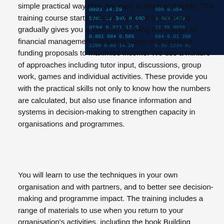[Figure (photo): Dark blue digital finance/data background image with glowing numbers and financial data codes in blue/cyan tones]
simple practical way they are easy to learn and apply. This training course starts with the basics of finance and gradually gives you a thorough working knowledge of financial management, including ways of presenting funding proposals to maximise income. We use a mixture of approaches including tutor input, discussions, group work, games and individual activities. These provide you with the practical skills not only to know how the numbers are calculated, but also use finance information and systems in decision-making to strengthen capacity in organisations and programmes.
You will learn to use the techniques in your own organisation and with partners, and to better see decision-making and programme impact. The training includes a range of materials to use when you return to your organisation's activities, including the book Building Financial Management Capacity for NGOs and Community Organisations, written by the trainer.